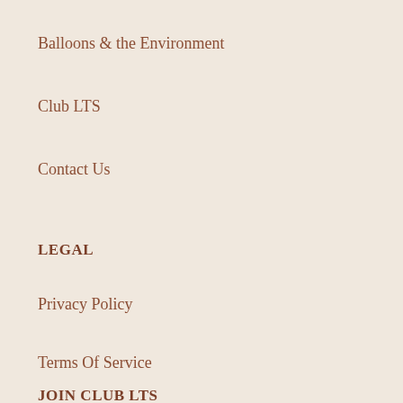Balloons & the Environment
Club LTS
Contact Us
LEGAL
Privacy Policy
Terms Of Service
JOIN CLUB LTS